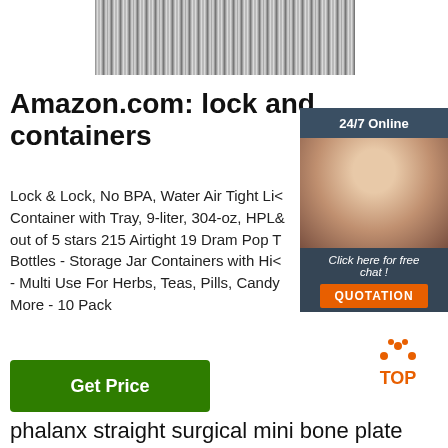[Figure (photo): Top portion of a photo showing rows of metallic rods or tubes stacked together]
Amazon.com: lock and containers
Lock & Lock, No BPA, Water Air Tight Lid Container with Tray, 9-liter, 304-oz, HPL8 out of 5 stars 215 Airtight 19 Dram Pop T Bottles - Storage Jar Containers with Hin - Multi Use For Herbs, Teas, Pills, Candy More - 10 Pack
[Figure (screenshot): 24/7 Online chat widget with photo of female customer service agent wearing headset, with 'Click here for free chat!' text and orange QUOTATION button]
[Figure (other): Orange TOP icon with triangle/chevron dots above the word TOP]
Get Price
phalanx straight surgical mini bone plate